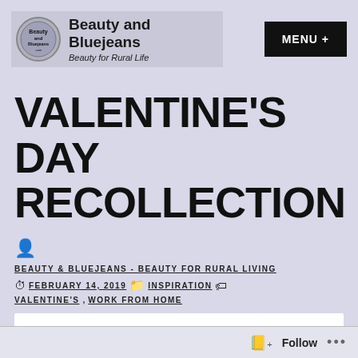Beauty and Bluejeans - Beauty for Rural Life | MENU +
VALENTINE'S DAY RECOLLECTION
BEAUTY & BLUEJEANS - BEAUTY FOR RURAL LIVING
FEBRUARY 14, 2019  INSPIRATION  VALENTINE'S, WORK FROM HOME
[Figure (other): White content area with partial circular graphic visible at bottom]
Follow ...